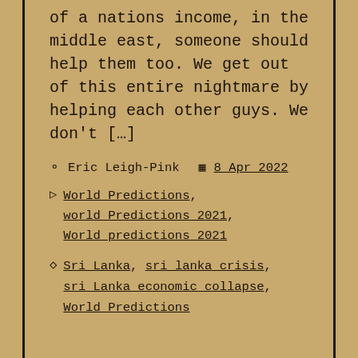of a nations income, in the middle east, someone should help them too. We get out of this entire nightmare by helping each other guys. We don't […]
Eric Leigh-Pink  8 Apr 2022
World Predictions, world Predictions 2021, World predictions 2021
Sri Lanka, sri lanka crisis, sri Lanka economic collapse, World Predictions